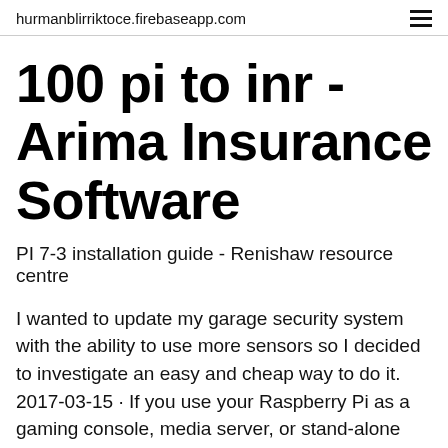hurmanblirriktoce.firebaseapp.com
100 pi to inr - Arima Insurance Software
PI 7-3 installation guide - Renishaw resource centre
I wanted to update my garage security system with the ability to use more sensors so I decided to investigate an easy and cheap way to do it. 2017-03-15 · If you use your Raspberry Pi as a gaming console, media server, or stand-alone computer, WiFi is a great way to get internet access. But if you connect to your Pi with SSH or a remote desktop